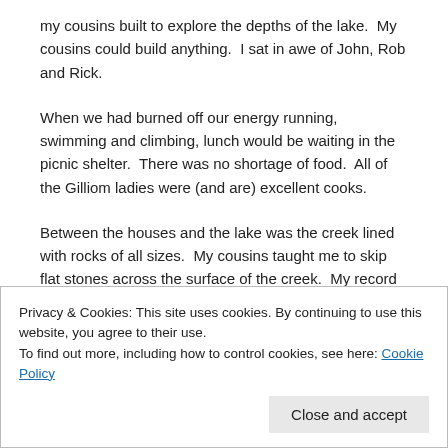my cousins built to explore the depths of the lake.  My cousins could build anything.  I sat in awe of John, Rob and Rick.
When we had burned off our energy running, swimming and climbing, lunch would be waiting in the picnic shelter.  There was no shortage of food.  All of the Gilliom ladies were (and are) excellent cooks.
Between the houses and the lake was the creek lined with rocks of all sizes.  My cousins taught me to skip flat stones across the surface of the creek.  My record was 12 bounces.  I'm looking forward to teaching that trick to my grandchildren, but they'll have to settle for Lake Erie on a calm day.
On rainy days, we might change locations to Aunt Dorothy and
Privacy & Cookies: This site uses cookies. By continuing to use this website, you agree to their use.
To find out more, including how to control cookies, see here: Cookie Policy
Close and accept